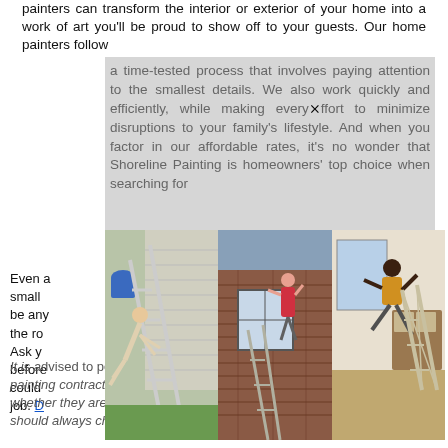painters can transform the interior or exterior of your home into a work of art you'll be proud to show off to your guests. Our home painters follow
a time-tested process that involves paying attention to the smallest details. We also work quickly and efficiently, while making every effort to minimize disruptions to your family's lifestyle. And when you factor in our affordable rates, it's no wonder that Shoreline Painting is homeowners' top choice when searching for
[Figure (photo): Three photos side by side showing people falling off ladders: left shows a person falling off a ladder against a house with siding, center shows a person climbing on a brick house exterior, right shows a person falling off a ladder indoors]
Even a small role could be any of the ro Ask you before could job. Do not It is advised to perform due diligence on any Hanover two story house painting contractor you are considering hiring. You should always check whether they are adequately insured, licensed and properly bonded. You should always check online reviews on websites like Yelp and Angieslist